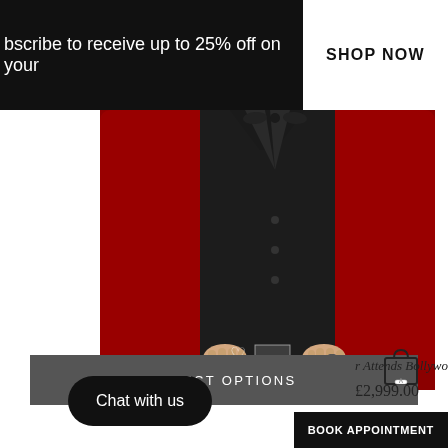bscribe to receive up to 25% off on your
SHOP NOW
[Figure (photo): Man wearing a black waistcoat/vest over a black shirt with bow tie, arms at sides with hands near waist, against a deep red background. Red jacket sleeves visible.]
SELECT OPTIONS
Chat with us
r Attends Bollywood Party
£2,999.00
BOOK APPOINTMENT